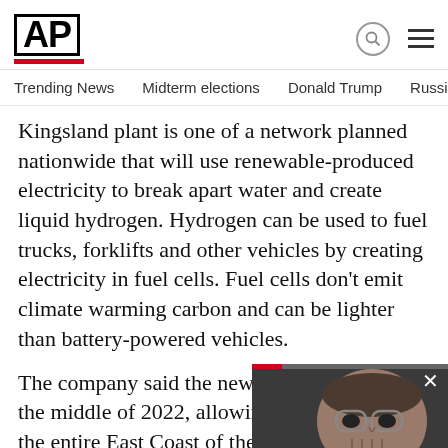AP
Trending News   Midterm elections   Donald Trump   Russia-Ukr
Kingsland plant is one of a network planned nationwide that will use renewable-produced electricity to break apart water and create liquid hydrogen. Hydrogen can be used to fuel trucks, forklifts and other vehicles by creating electricity in fuel cells. Fuel cells don't emit climate warming carbon and can be lighter than battery-powered vehicles.
The company said the new plant w the middle of 2022, allowing it to s the entire East Coast of the Unite a operates a hydrogen plant i building two more in Pennsylvania
[Figure (screenshot): Video overlay showing a man in glasses with video controls (pause button, mute button, close button X), progress bar at top, gray area at bottom]